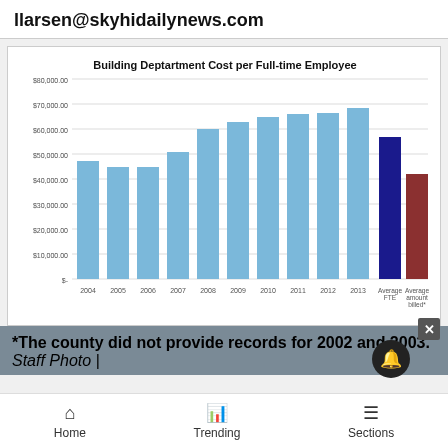llarsen@skyhidailynews.com
[Figure (bar-chart): Building Deptartment Cost per Full-time Employee]
*The county did not provide records for 2002 and 2003.
Staff Photo |
Home   Trending   Sections